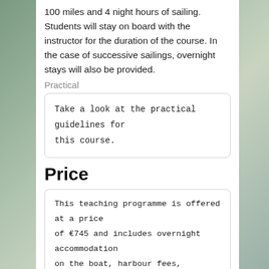100 miles and 4 night hours of sailing. Students will stay on board with the instructor for the duration of the course. In the case of successive sailings, overnight stays will also be provided.
Practical
Take a look at the practical guidelines for this course.
Price
This teaching programme is offered at a price of €745 and includes overnight accommodation on the boat, harbour fees, qualified RYA skipper/instructor, fuel, etc. Discounts may apply.
Breakfast and lunch at midday are included in the price.
As just about everything is included we do not operate a ship's purse. The evening meal is